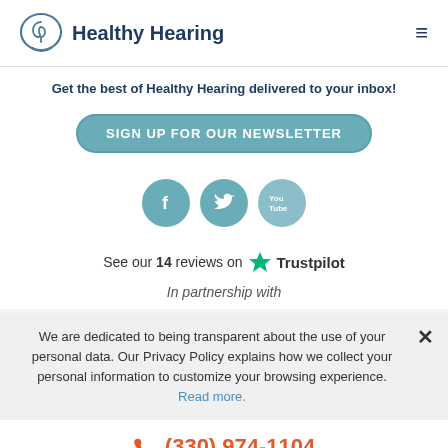Healthy Hearing
Get the best of Healthy Hearing delivered to your inbox!
SIGN UP FOR OUR NEWSLETTER
[Figure (illustration): Three social media icons: Facebook (f), Twitter (bird), YouTube]
See our 14 reviews on Trustpilot
In partnership with
We are dedicated to being transparent about the use of your personal data. Our Privacy Policy explains how we collect your personal information to customize your browsing experience. Read more.
(330) 974-1104